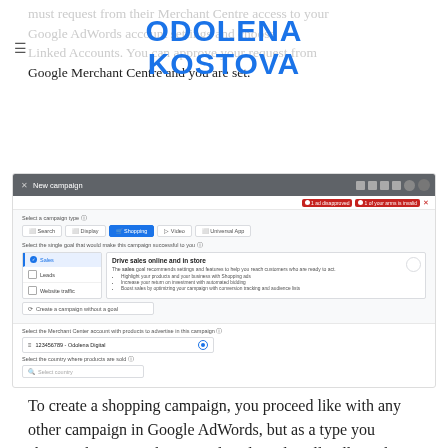must request from their Merchant Centre access to your Google AdWords account settings and choose Linked Accounts. You can approve your request from Google Merchant Centre and you are set.
[Figure (logo): Odolena Kostova logo in blue bold text]
[Figure (screenshot): Google AdWords New campaign setup screen showing Shopping campaign type selected, Sales goal selected with Drive sales online and in store description, Merchant Center account 123456789 - Odolena Digital selected, and Select country dropdown]
To create a shopping campaign, you proceed like with any other campaign in Google AdWords, but as a type you choose Shopping. Then Google AdWords will pull out the